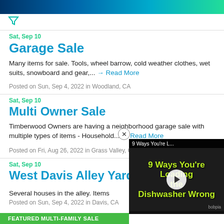[Figure (screenshot): Top banner with gradient blue-green color and a filter/funnel icon below it]
Sat, Sep 10
Garage Sale
Many items for sale. Tools, wheel barrow, cold weather clothes, wet suits, snowboard and gear,... → Read More
Posted on Sun, Sep 4, 2022 in Woodland, CA
Sat, Sep 10
Multi Owner Sale
Timberwood Owners are having a neighborhood garage sale with multiple types of items - Household... → Read More
Posted on Fri, Aug 26, 2022 in Grass Valley, CA
Sat, Sep 10
West Davis Alley Yard S
Several houses in the alley. Items
Posted on Sun, Sep 4, 2022 in Davis, CA
[Figure (screenshot): Video overlay showing '9 Ways You're L...' title bar, with bold yellow-green text '9 Ways You're Loading the Dishwasher Wrong' and a play button circle, bobpia branding at bottom right]
FEATURED MULTI-FAMILY SALE